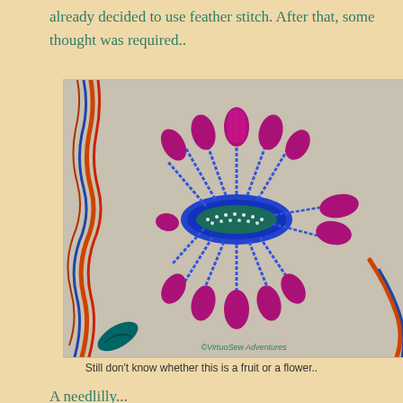already decided to use feather stitch. After that, some thought was required..
[Figure (photo): Close-up photograph of embroidery work on fabric showing a flower or fruit motif with purple/magenta petal-like shapes in satin stitch, blue chain stitch outlines, and a teal center with white dot stitches, on a light grey linen background. A multicolored twisted cord border is visible on the left. Watermark reads ©VirtuoSew Adventures]
Still don't know whether this is a fruit or a flower..
A needlilly...